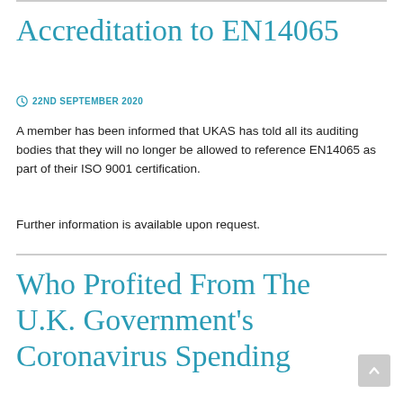Accreditation to EN14065
22ND SEPTEMBER 2020
A member has been informed that UKAS has told all its auditing bodies that they will no longer be allowed to reference EN14065 as part of their ISO 9001 certification.
Further information is available upon request.
Who Profited From The U.K. Government's Coronavirus Spending